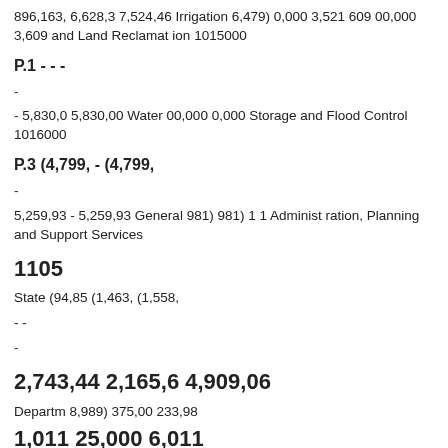896,163, 6,628,3 7,524,46 Irrigation 6,479) 0,000 3,521 609 00,000 3,609 and Land Reclamation 1015000
P.1 - - -
-
- 5,830,0 5,830,00 Water 00,000 0,000 Storage and Flood Control 1016000
P.3 (4,799, - (4,799,
-
5,259,93 - 5,259,93 General 981) 981) 1 1 Administration, Planning and Support Services
1105
State (94,85 (1,463, (1,558,
- -
-
2,743,44 2,165,6 4,909,06
Departm 8,989) 375,00 233,98
1,011 25,000 6,011